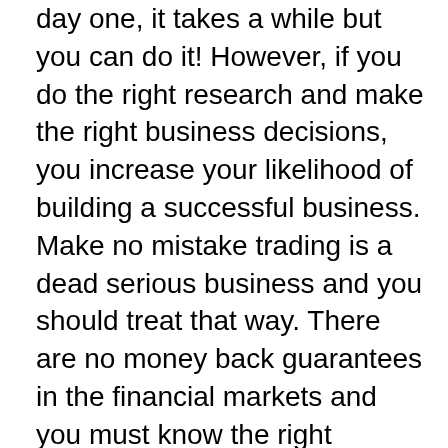day one, it takes a while but you can do it! However, if you do the right research and make the right business decisions, you increase your likelihood of building a successful business. Make no mistake trading is a dead serious business and you should treat that way. There are no money back guarantees in the financial markets and you must know the right information from the start to have a chance of becoming consistently profitable and financially successful, indicators give you the wrong information and can cause a trader to make grave mistakes causing them to lose all their hard earned money. Rambo Low ☐☐☐☐ ☐☐☐ Forex Trading Low Risk Balance. You are in control and should always take care to trade responsibly. Cancel Send invite. Provides traders with safer, smarter, less complex and time-consuming ways to trade forex with higher odds of success. Crono New Agressive risk balance.